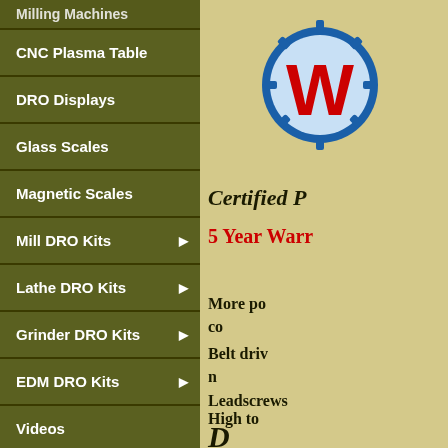Milling Machines
CNC Plasma Table
DRO Displays
Glass Scales
Magnetic Scales
Mill DRO Kits ▶
Lathe DRO Kits ▶
Grinder DRO Kits ▶
EDM DRO Kits ▶
Videos
Touch Probe
[Figure (logo): W logo badge - blue gear circle with red W]
Certified P
5 Year Warr
More po co
Belt driv n
Leadscrews High to
D